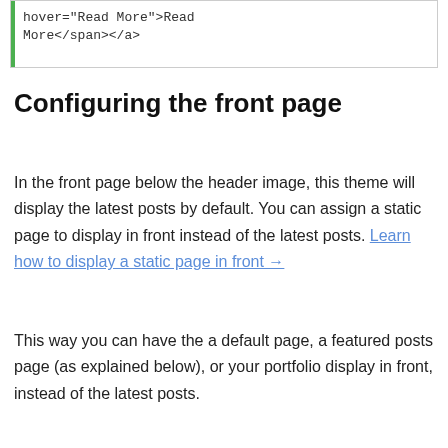[Figure (screenshot): Code block showing HTML snippet: hover="Read More">Read More</span></a> with green left border]
Configuring the front page
In the front page below the header image, this theme will display the latest posts by default. You can assign a static page to display in front instead of the latest posts. Learn how to display a static page in front →
This way you can have the a default page, a featured posts page (as explained below), or your portfolio display in front, instead of the latest posts.